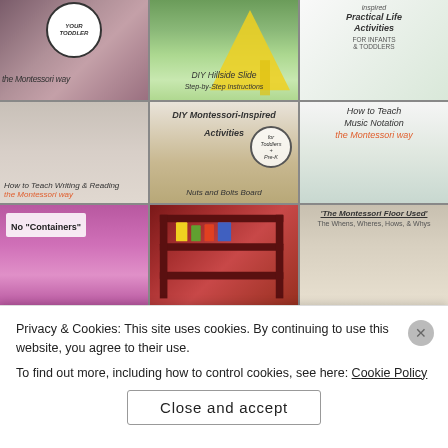[Figure (photo): Grid of 9 Montessori-related images showing activities for toddlers, DIY hillside slide, practical life activities, writing/reading the Montessori way, DIY Montessori inspired activities nuts and bolts board, how to teach music notation the Montessori way, no containers activity, Montessori shelf, and the Montessori floor used]
Privacy & Cookies: This site uses cookies. By continuing to use this website, you agree to their use.
To find out more, including how to control cookies, see here: Cookie Policy
Close and accept